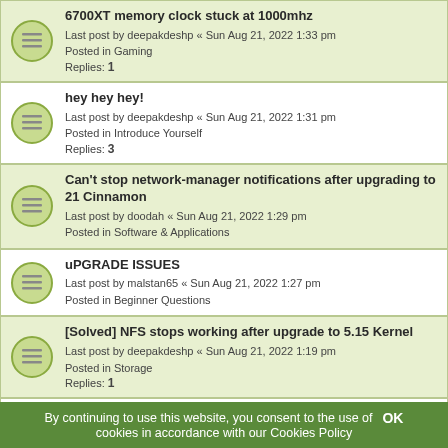6700XT memory clock stuck at 1000mhz
Last post by deepakdeshp « Sun Aug 21, 2022 1:33 pm
Posted in Gaming
Replies: 1
hey hey hey!
Last post by deepakdeshp « Sun Aug 21, 2022 1:31 pm
Posted in Introduce Yourself
Replies: 3
Can't stop network-manager notifications after upgrading to 21 Cinnamon
Last post by doodah « Sun Aug 21, 2022 1:29 pm
Posted in Software & Applications
uPGRADE ISSUES
Last post by malstan65 « Sun Aug 21, 2022 1:27 pm
Posted in Beginner Questions
[Solved] NFS stops working after upgrade to 5.15 Kernel
Last post by deepakdeshp « Sun Aug 21, 2022 1:19 pm
Posted in Storage
Replies: 1
Cannot boot programs through Conda
Last post by deepakdeshp « Sun Aug 21, 2022 1:17 pm
Posted in Software & Applications
Replies: 1
"Show position of pointer when the Control key is pressed" does not work on LM21
Last post by JosephM « Sun Aug 21, 2022 1:15 pm
By continuing to use this website, you consent to the use of cookies in accordance with our Cookies Policy   OK